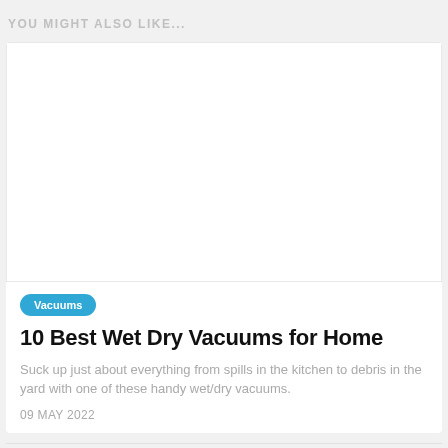YOU MIGHT ALSO LIKE...
[Figure (photo): Blank white image placeholder for article thumbnail]
Vacuums
10 Best Wet Dry Vacuums for Home
Suck up just about everything from spills in the kitchen to debris in the yard with one of these handy wet/dry vacuums.
09 MAY 2022